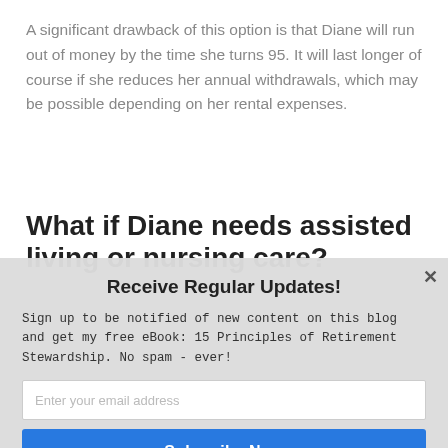A significant drawback of this option is that Diane will run out of money by the time she turns 95. It will last longer of course if she reduces her annual withdrawals, which may be possible depending on her rental expenses.
What if Diane needs assisted living or nursing care?
Receive Regular Updates!
Sign up to be notified of new content on this blog and get my free eBook: 15 Principles of Retirement Stewardship. No spam - ever!
Enter your email address
Subscribe Now